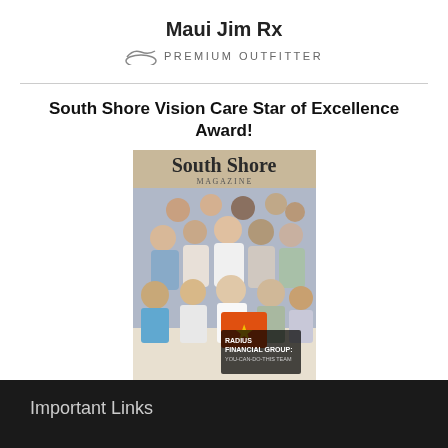Maui Jim Rx
PREMIUM OUTFITTER
South Shore Vision Care Star of Excellence Award!
[Figure (photo): Magazine cover of South Shore Magazine featuring a group photo of people, with text 'RADIUS FINANCIAL GROUP: YOU-CAN-DO-THIS TEAM' and a star graphic on the cover.]
Important Links